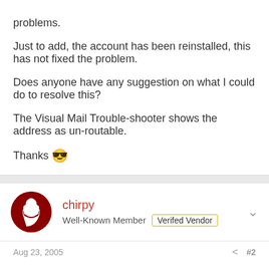problems.
Just to add, the account has been reinstalled, this has not fixed the problem.
Does anyone have any suggestion on what I could do to resolve this?
The Visual Mail Trouble-shooter shows the address as un-routable.
Thanks 😎
chirpy
Well-Known Member  Verifed Vendor
Aug 23, 2005  #2
It does indeed sound like a DNS resolution problem on the server. If you login via shell and do a:
dig domain.com mx